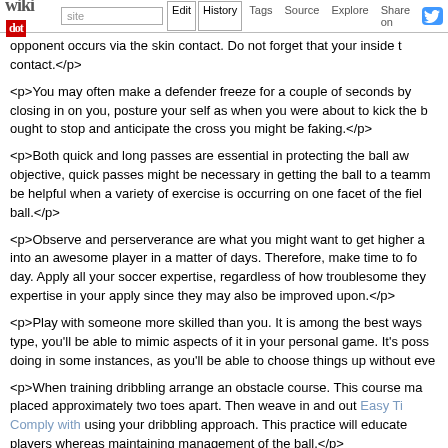wikidot | site | Edit | History | Tags | Source | Explore | Share on Twitter
<p>opponent occurs via the skin contact. Do not forget that your inside t contact.</p>
<p>You may often make a defender freeze for a couple of seconds by closing in on you, posture your self as when you were about to kick the b ought to stop and anticipate the cross you might be faking.</p>
<p>Both quick and long passes are essential in protecting the ball aw objective, quick passes might be necessary in getting the ball to a teamm be helpful when a variety of exercise is occurring on one facet of the fiel ball.</p>
<p>Observe and perserverance are what you might want to get higher a into an awesome player in a matter of days. Therefore, make time to fo day. Apply all your soccer expertise, regardless of how troublesome they expertise in your apply since they may also be improved upon.</p>
<p>Play with someone more skilled than you. It is among the best ways type, you'll be able to mimic aspects of it in your personal game. It's poss doing in some instances, as you'll be able to choose things up without eve</p>
<p>When training dribbling arrange an obstacle course. This course ma placed approximately two toes apart. Then weave in and out Easy Ti Comply with using your dribbling approach. This practice will educate players whereas maintaining management of the ball.</p>
<p>Do you feel like you may move your soccer sport forward? Anyone place the strategies mentioned into play on the sector, so get transferring and all the time look for new and helpful data from completely different s rounded participant.</p> — Comments: 0